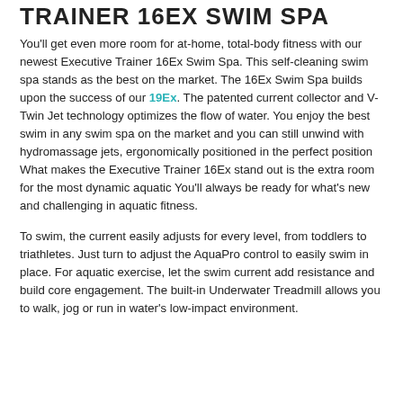TRAINER 16EX SWIM SPA
You'll get even more room for at-home, total-body fitness with our newest Executive Trainer 16Ex Swim Spa. This self-cleaning swim spa stands as the best on the market. The 16Ex Swim Spa builds upon the success of our 19Ex. The patented current collector and V-Twin Jet technology optimizes the flow of water. You enjoy the best swim in any swim spa on the market and you can still unwind with hydromassage jets, ergonomically positioned in the perfect position What makes the Executive Trainer 16Ex stand out is the extra room for the most dynamic aquatic You'll always be ready for what's new and challenging in aquatic fitness.
To swim, the current easily adjusts for every level, from toddlers to triathletes. Just turn to adjust the AquaPro control to easily swim in place. For aquatic exercise, let the swim current add resistance and build core engagement. The built-in Underwater Treadmill allows you to walk, jog or run in water's low-impact environment.